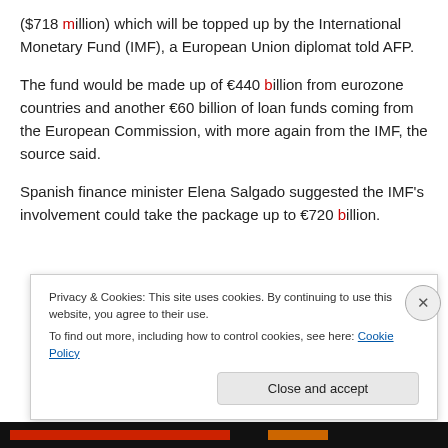($718 million) which will be topped up by the International Monetary Fund (IMF), a European Union diplomat told AFP.
The fund would be made up of €440 billion from eurozone countries and another €60 billion of loan funds coming from the European Commission, with more again from the IMF, the source said.
Spanish finance minister Elena Salgado suggested the IMF's involvement could take the package up to €720 billion.
Privacy & Cookies: This site uses cookies. By continuing to use this website, you agree to their use. To find out more, including how to control cookies, see here: Cookie Policy